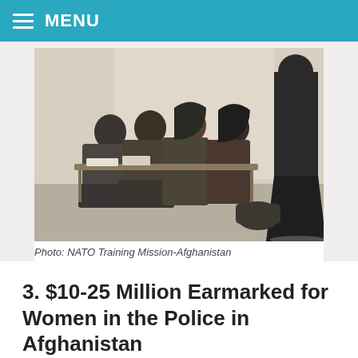MENU
[Figure (photo): Women in police uniforms seated in a classroom setting, with a person standing at the front, likely a training session for female Afghan police officers.]
Photo: NATO Training Mission-Afghanistan
3. $10-25 Million Earmarked for Women in the Police in Afghanistan
After targeted advocacy by our